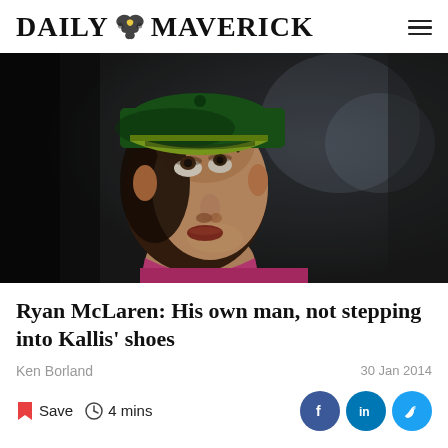DAILY MAVERICK
[Figure (photo): Close-up photograph of a cricketer wearing a green and gold cap, looking upward, face partially lit]
Ryan McLaren: His own man, not stepping into Kallis' shoes
Ken Borland
30 Jan 2014
Save  4 mins